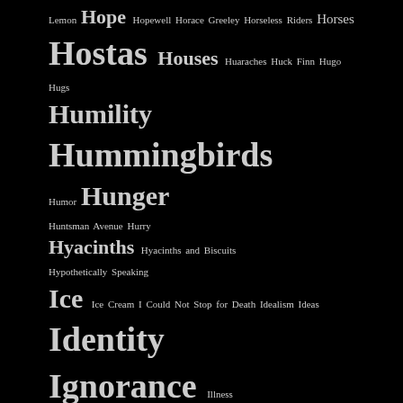Lemon Hope Hopewell Horace Greeley Horseless Riders Horses Hostas Houses Huaraches Huck Finn Hugo Hugs Humility Hummingbirds Humor Hunger Huntsman Avenue Hurry Hyacinths Hyacinths and Biscuits Hypothetically Speaking Ice Ice Cream I Could Not Stop for Death Idealism Ideas Identity Ignorance Illness Illusion I Love the Flower Girl I Love You Images Imaginary Aunts Imaginary Conversations Imagination